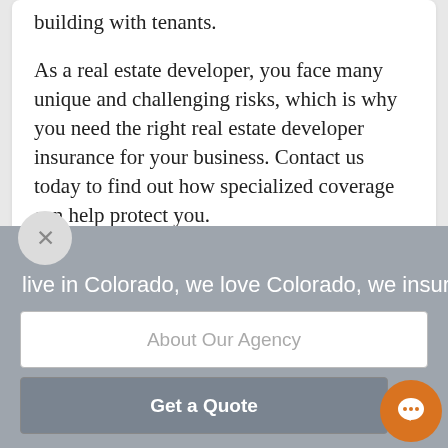building with tenants.
As a real estate developer, you face many unique and challenging risks, which is why you need the right real estate developer insurance for your business. Contact us today to find out how specialized coverage can help protect you.
live in Colorado, we love Colorado, we insure C
About Our Agency
Get a Quote